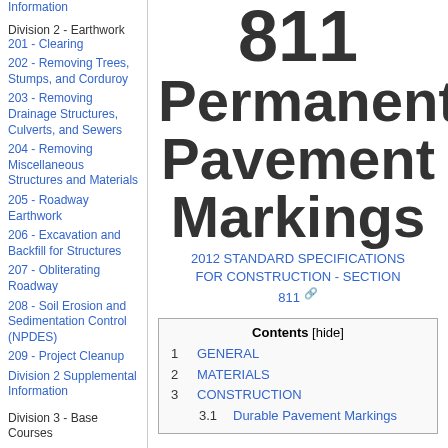Information
Division 2 - Earthwork
201 - Clearing
202 - Removing Trees, Stumps, and Corduroy
203 - Removing Drainage Structures, Culverts, and Sewers
204 - Removing Miscellaneous Structures and Materials
205 - Roadway Earthwork
206 - Excavation and Backfill for Structures
207 - Obliterating Roadway
208 - Soil Erosion and Sedimentation Control (NPDES)
209 - Project Cleanup
Division 2 Supplemental Information
Division 3 - Base Courses
811 Permanent Pavement Markings
2012 STANDARD SPECIFICATIONS FOR CONSTRUCTION - SECTION 811
| Contents |
| --- |
| 1 GENERAL |
| 2 MATERIALS |
| 3 CONSTRUCTION |
| 3.1 Durable Pavement Markings |